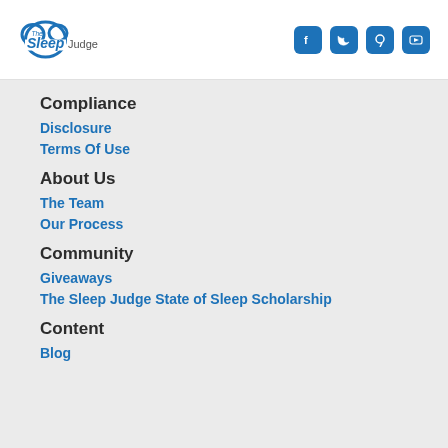The Sleep Judge — Social icons: Facebook, Twitter, Pinterest, YouTube
Compliance
Disclosure
Terms Of Use
About Us
The Team
Our Process
Community
Giveaways
The Sleep Judge State of Sleep Scholarship
Content
Blog